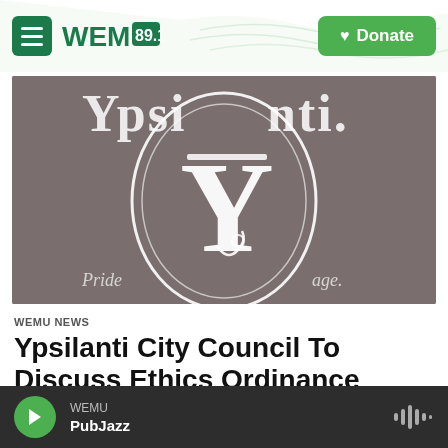WEMU 89.1 | Donate
[Figure (logo): Ypsilanti city seal/logo — large ornate letter Y in an oval frame with decorative serif text reading 'Ypsilanti' on a gray background]
WEMU News
Ypsilanti City Council To Discuss Ethics Ordinance Tonight
WEMU | PubJazz